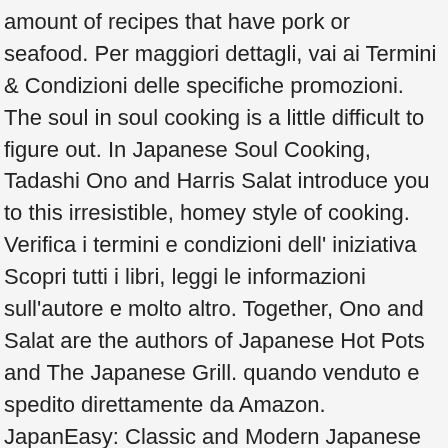amount of recipes that have pork or seafood. Per maggiori dettagli, vai ai Termini & Condizioni delle specifiche promozioni. The soul in soul cooking is a little difficult to figure out. In Japanese Soul Cooking, Tadashi Ono and Harris Salat introduce you to this irresistible, homey style of cooking. Verifica i termini e condizioni dell' iniziativa Scopri tutti i libri, leggi le informazioni sull'autore e molto altro. Together, Ono and Salat are the authors of Japanese Hot Pots and The Japanese Grill. quando venduto e spedito direttamente da Amazon. JapanEasy: Classic and Modern Japanese Recipes to Cook at Home Tim Anderson. Description Description Description. Tadashi and Harris have compiled a wonderful collection of recipes that veers sharply from the mysterious and lofty world of sushi and kaiseki and lands smack dab in the